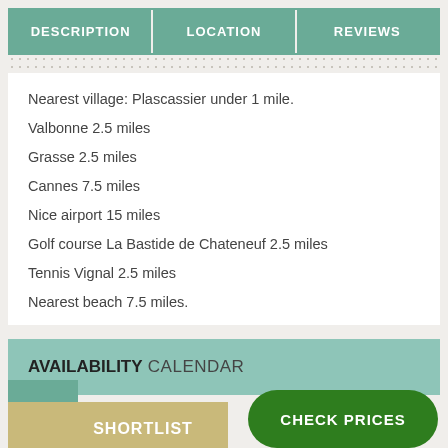| DESCRIPTION | LOCATION | REVIEWS |
| --- | --- | --- |
Nearest village: Plascassier under 1 mile.
Valbonne 2.5 miles
Grasse 2.5 miles
Cannes 7.5 miles
Nice airport 15 miles
Golf course La Bastide de Chateneuf 2.5 miles
Tennis Vignal 2.5 miles
Nearest beach 7.5 miles.
AVAILABILITY CALENDAR